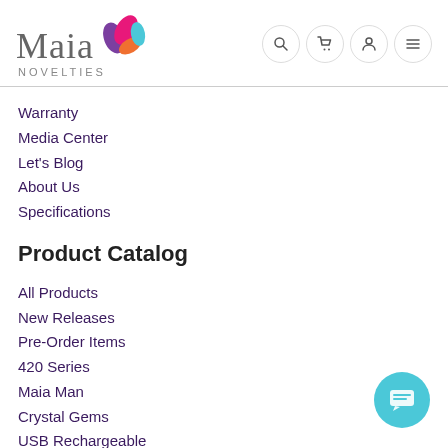[Figure (logo): Maia Novelties logo with colorful leaf/droplet shapes in purple, pink, orange, teal]
Warranty
Media Center
Let's Blog
About Us
Specifications
Product Catalog
All Products
New Releases
Pre-Order Items
420 Series
Maia Man
Crystal Gems
USB Rechargeable
Bullets